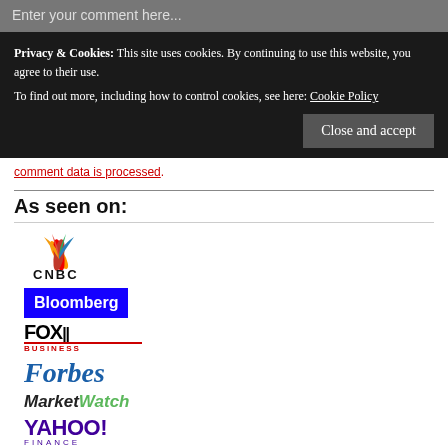Enter your comment here...
Privacy & Cookies: This site uses cookies. By continuing to use this website, you agree to their use. To find out more, including how to control cookies, see here: Cookie Policy
Close and accept
comment data is processed.
As seen on:
[Figure (logo): CNBC logo with NBC peacock and bold CNBC text]
[Figure (logo): Bloomberg logo — white text on blue rectangle]
[Figure (logo): Fox Business logo]
[Figure (logo): Forbes logo in italic blue serif font]
[Figure (logo): MarketWatch logo in bold italic with green Watch]
[Figure (logo): Yahoo Finance logo in purple]